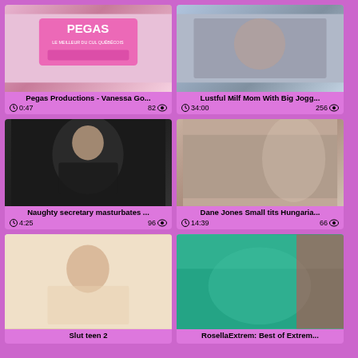[Figure (screenshot): Video thumbnail grid card 1 - Pegas Productions logo image]
Pegas Productions - Vanessa Go...
0:47  82 views
[Figure (screenshot): Video thumbnail grid card 2 - Lustful Milf Mom With Big Jogg...]
Lustful Milf Mom With Big Jogg...
34:00  256 views
[Figure (screenshot): Video thumbnail grid card 3 - Naughty secretary masturbates ...]
Naughty secretary masturbates ...
4:25  96 views
[Figure (screenshot): Video thumbnail grid card 4 - Dane Jones Small tits Hungaria...]
Dane Jones Small tits Hungaria...
14:39  66 views
[Figure (screenshot): Video thumbnail grid card 5 - Slut teen 2]
Slut teen 2
[Figure (screenshot): Video thumbnail grid card 6 - RosellaExtrem: Best of Extrem...]
RosellaExtrem: Best of Extrem...